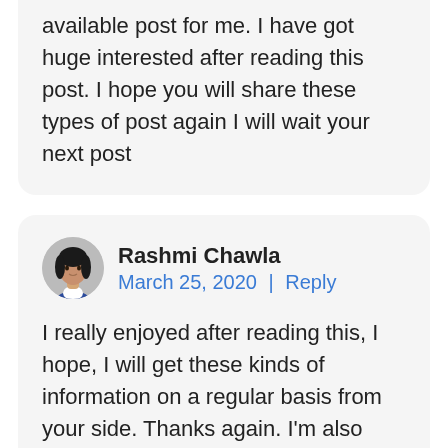available post for me. I have got huge interested after reading this post. I hope you will share these types of post again I will wait your next post
Rashmi Chawla
March 25, 2020 | Reply

I really enjoyed after reading this, I hope, I will get these kinds of information on a regular basis from your side. Thanks again. I'm also trying to share this type of article